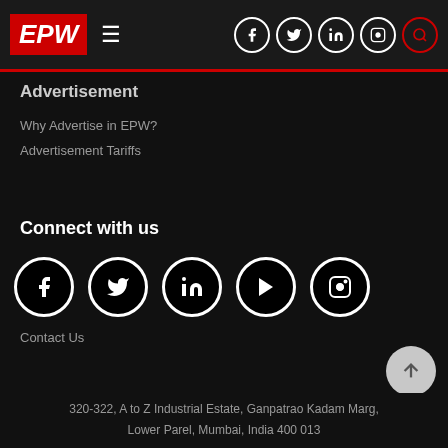EPW — Navigation bar with hamburger menu and social icons (Facebook, Twitter, LinkedIn, Instagram, Search)
Advertisement
Why Advertise in EPW?
Advertisement Tariffs
Connect with us
[Figure (infographic): Social media icons row: Facebook, Twitter, LinkedIn, YouTube, Instagram — each in a white-bordered black circle]
Contact Us
320-322, A to Z Industrial Estate, Ganpatrao Kadam Marg, Lower Parel, Mumbai, India 400 013